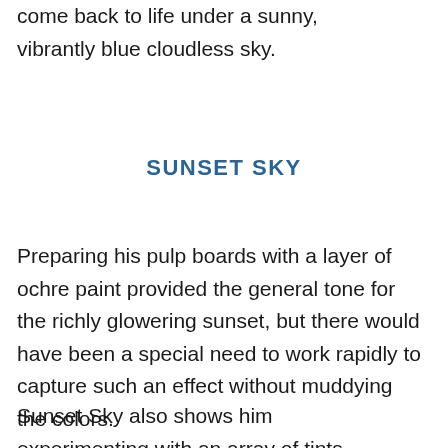come back to life under a sunny, vibrantly blue cloudless sky.
SUNSET SKY
Preparing his pulp boards with a layer of ochre paint provided the general tone for the richly glowering sunset, but there would have been a special need to work rapidly to capture such an effect without muddying the colors.
Sunset Sky also shows him experimenting with an array of tints,